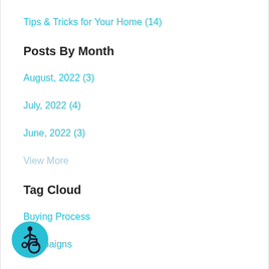Tips & Tricks for Your Home  (14)
Posts By Month
August, 2022  (3)
July, 2022  (4)
June, 2022  (3)
View More
Tag Cloud
Buying Process
Campaigns
[Figure (illustration): Accessibility icon — wheelchair user symbol in a teal circle]